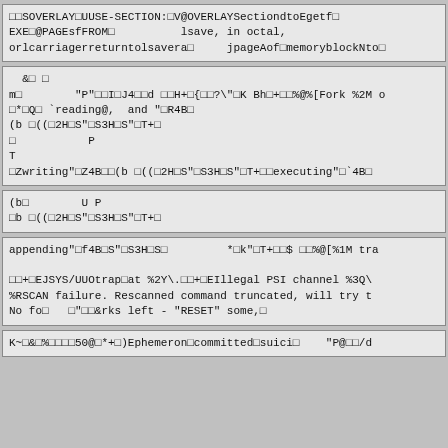□□SOVERLAY□UUSE-SECTION:□V@OVERLAYSectiondtoEgetf□
EXE□@PAGEsfFROM□          lsave, in octal,
orlcarriagerreturntolsavera□     jpageAof□memoryblockNto□
&□ □
m□        "P"□□I□J4□□d □□H+□{□□?\"□K Bh□+□□%@%[Fork %2M o
□*□Q□ `reading@,  and "□R4B□
(b □((□2H□S"□S3H□S"□T+□
□           P
T
□Zwriting"□Z4B□□(b □((□2H□S"□S3H□S"□T+□□executing"□`4B□
(b□        U P
□b □((□2H□S"□S3H□S"□T+□
appending"□f4B□S"□S3H□S□         *□k"□T+□□$ □□%@[%1M tra

□□+□EJSYS/UUOtrap□at %2Y\.□□+□EIllegal PSI channel %3Q\
%RSCAN failure. Rescanned command truncated, will try t
No fo□   □"□□&rks left - "RESET" some,□
K~□&□%□□□□50@□*+□)Ephemeron□committed□suici□    "P@□□/d